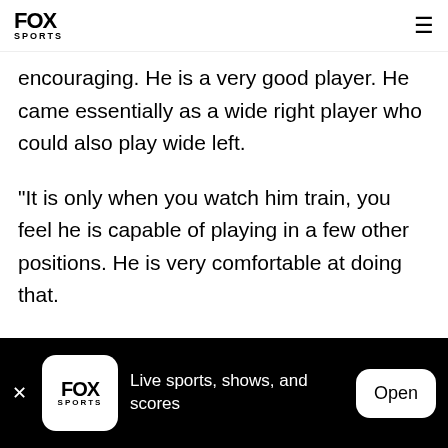FOX SPORTS
encouraging. He is a very good player. He came essentially as a wide right player who could also play wide left.
"It is only when you watch him train, you feel he is capable of playing in a few other positions. He is very comfortable at doing that.
"We are all pleased with the development of him as a player and his ability to play in a number of positions
FOX SPORTS — Live sports, shows, and scores — Open